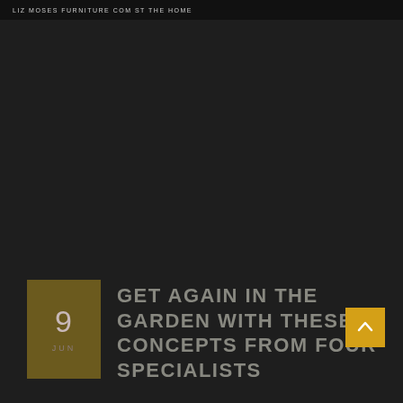LIZ MOSES FURNITURE COM ST THE HOME
[Figure (photo): Dark background area representing a garden or outdoor scene, mostly dark/black fill]
9 JUN
GET AGAIN IN THE GARDEN WITH THESE CONCEPTS FROM FOUR SPECIALISTS